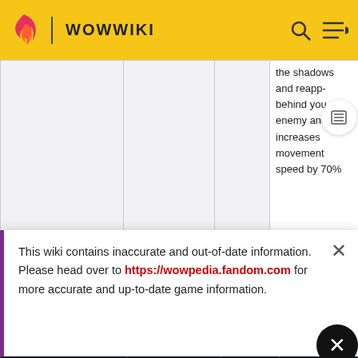WOWWIKI
|  |  |  |  |
| --- | --- | --- | --- |
|  |  |  | the shadows and reapp- behind you enemy and increases movement speed by 70% |
This wiki contains inaccurate and out-of-date information. Please head over to https://wowpedia.fandom.com for more accurate and up-to-date game information.
[Figure (photo): NHTSA advertisement: IF YOU FEEL DIFFERENT YOU DRIVE DIFFERENT DRIVE HIGH GET A DUI - Watch Now]
20% and t- caused duced by lasts 10
|  |  |  |  |
| --- | --- | --- | --- |
| Filthy Tricks | Subtlety 40 | 2 | Reduces the |